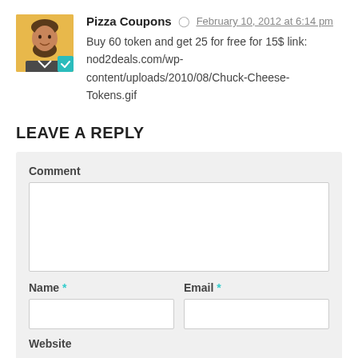Pizza Coupons  February 10, 2012 at 6:14 pm
Buy 60 token and get 25 for free for 15$ link: nod2deals.com/wp-content/uploads/2010/08/Chuck-Cheese-Tokens.gif
LEAVE A REPLY
Comment
Name *
Email *
Website